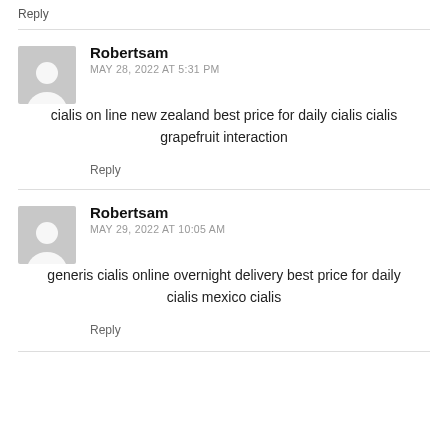Reply
Robertsam
MAY 28, 2022 AT 5:31 PM
cialis on line new zealand best price for daily cialis cialis grapefruit interaction
Reply
Robertsam
MAY 29, 2022 AT 10:05 AM
generis cialis online overnight delivery best price for daily cialis mexico cialis
Reply